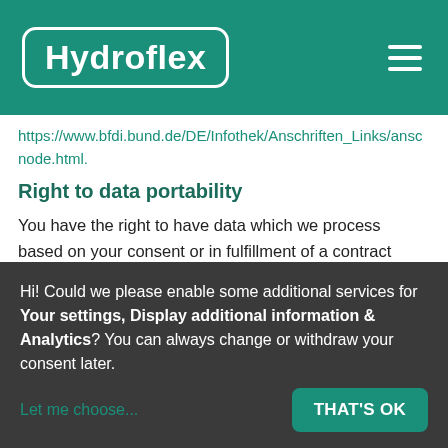Hydroflex
https://www.bfdi.bund.de/DE/Infothek/Anschriften_Links/ansc
node.html.
Right to data portability
You have the right to have data which we process based on your consent or in fulfillment of a contract automatically delivered to yourself or to a third party in a standard, machine-readable format. If you require the direct transfer of
Hi! Could we please enable some additional services for Your settings, Display additional information & Analytics? You can always change or withdraw your consent later.
Let me choose...
THAT'S OK